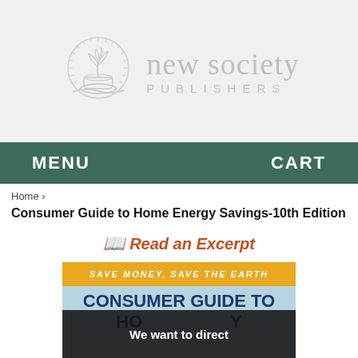[Figure (logo): New Society Publishers logo with plant/tree sprout in circular emblem and text 'new society PUBLISHERS']
MENU    CART
Home ›
Consumer Guide to Home Energy Savings-10th Edition
📖 Read an Excerpt
[Figure (photo): Book cover showing 'SAVE MONEY, SAVE THE EARTH' in gold bar, then 'CONSUMER GUIDE TO HOME ENERGY' text on blue background, with dark overlay popup at bottom saying 'We want to direct']